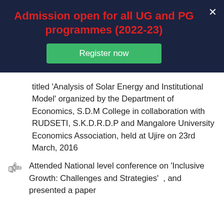Admission open for all UG and PG programmes (2022-23)
Register now
titled ‘Analysis of Solar Energy and Institutional Model’ organized by the Department of Economics, S.D.M College in collaboration with RUDSETI, S.K.D.R.D.P and Mangalore University Economics Association, held at Ujire on 23rd March, 2016
Attended National level conference on ‘Inclusive Growth: Challenges and Strategies’ , and presented a paper